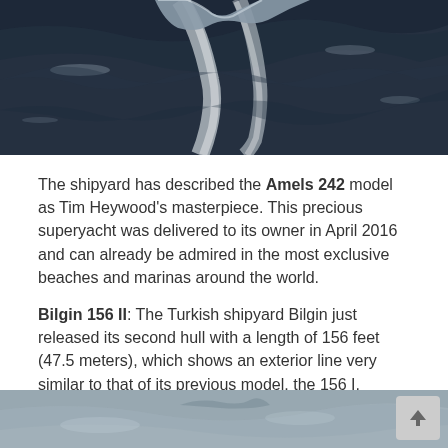[Figure (photo): Aerial view of a superyacht moving through dark blue ocean water, creating white wake trails]
The shipyard has described the Amels 242 model as Tim Heywood’s masterpiece. This precious superyacht was delivered to its owner in April 2016 and can already be admired in the most exclusive beaches and marinas around the world.
Bilgin 156 II: The Turkish shipyard Bilgin just released its second hull with a length of 156 feet (47.5 meters), which shows an exterior line very similar to that of its previous model, the 156 I.
[Figure (photo): Partial view of a yacht or ocean scene at the bottom of the page]